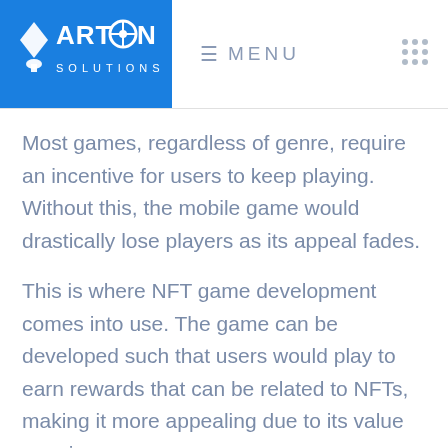ARTCON SOLUTIONS | MENU
Most games, regardless of genre, require an incentive for users to keep playing. Without this, the mobile game would drastically lose players as its appeal fades.
This is where NFT game development comes into use. The game can be developed such that users would play to earn rewards that can be related to NFTs, making it more appealing due to its value over in-game currency.
Since NFTs only allow a single owner at a time, there would be an incentive to own the object over other competitors. The effects of such a mechanism would probably increase engagement time as users would